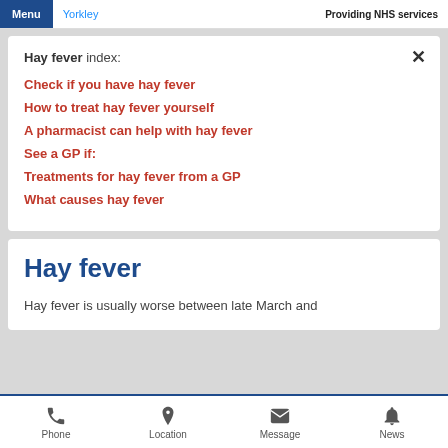Menu  Yorkley  Providing NHS services
Hay fever index:
Check if you have hay fever
How to treat hay fever yourself
A pharmacist can help with hay fever
See a GP if:
Treatments for hay fever from a GP
What causes hay fever
Hay fever
Hay fever is usually worse between late March and
Phone  Location  Message  News